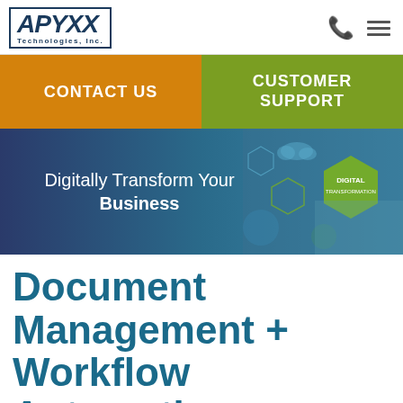[Figure (logo): APYXX Technologies, Inc. logo in a blue border box]
CONTACT US
CUSTOMER SUPPORT
[Figure (illustration): Hero banner with blue digital transformation background, text 'Digitally Transform Your Business' and a 'DIGITAL TRANSFORMATION' hexagon graphic on the right]
Document Management + Workflow Automation